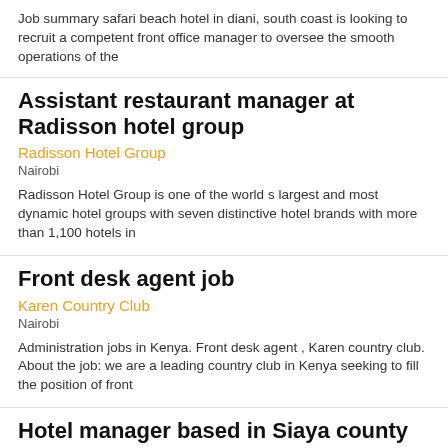Job summary safari beach hotel in diani, south coast is looking to recruit a competent front office manager to oversee the smooth operations of the
Assistant restaurant manager at Radisson hotel group
Radisson Hotel Group
Nairobi
Radisson Hotel Group is one of the world s largest and most dynamic hotel groups with seven distinctive hotel brands with more than 1,100 hotels in
Front desk agent job
Karen Country Club
Nairobi
Administration jobs in Kenya. Front desk agent , Karen country club. About the job: we are a leading country club in Kenya seeking to fill the position of front
Hotel manager based in Siaya county
New Saffy Hotel
Mombasa
Hotel manager based in Siaya county other Mombasa details employer new saffy hotel company industry hospitality & leisure work type full time job level